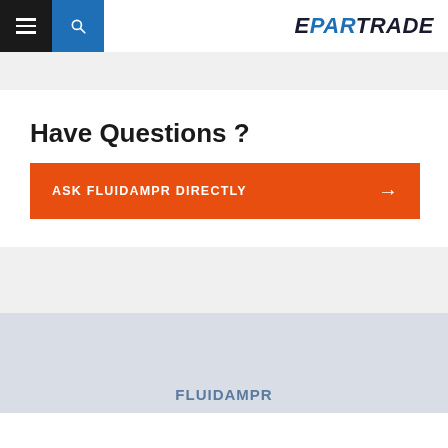[Figure (logo): EPARTRADE logo in navbar with hamburger menu and search icon]
Have Questions ?
ASK FLUIDAMPR DIRECTLY →
FLUIDAMPR